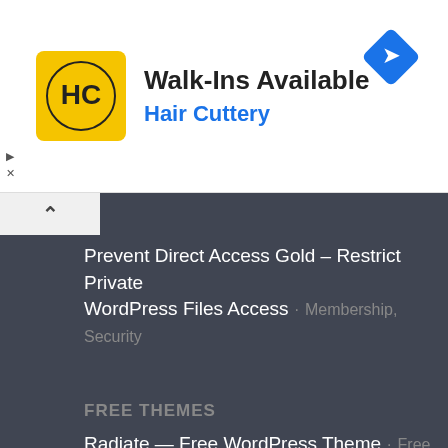[Figure (other): Hair Cuttery advertisement banner with logo (HC in yellow circle), text 'Walk-Ins Available' and 'Hair Cuttery', and a blue diamond arrow icon on the right.]
Prevent Direct Access Gold – Restrict Private WordPress Files Access · Membership, Security
FREE THEMES
Radiate — Free WordPress Theme · Free Themes
Virtue — Free WordPress Theme · Free Themes
Customizr — Free WordPress Theme · Free Themes
Vantage — Free WordPress Theme · Free Themes